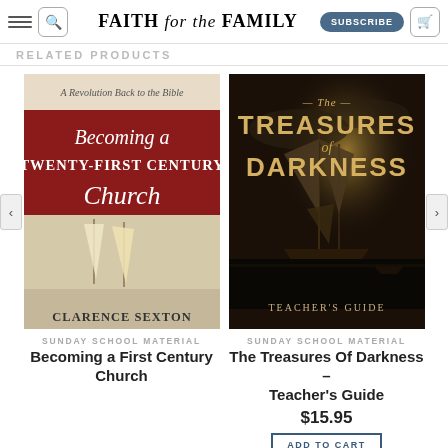Faith for the Family
RELATED PRODUCTS
[Figure (photo): Book cover: Becoming a Twenty-First Century Church by Clarence Sexton. Red banner with cursive title over an image of sailing boats.]
SUNDAY SCHOOL MATERIAL
Becoming a First Century Church
[Figure (photo): Book cover: The Treasures of Darkness – Teacher's Guide. Dark dramatic painting of a tall ship at sea with moonlight, gold title text.]
SUNDAY SCHOOL MATERIAL
The Treasures Of Darkness – Teacher's Guide
$15.95
ADD TO CART